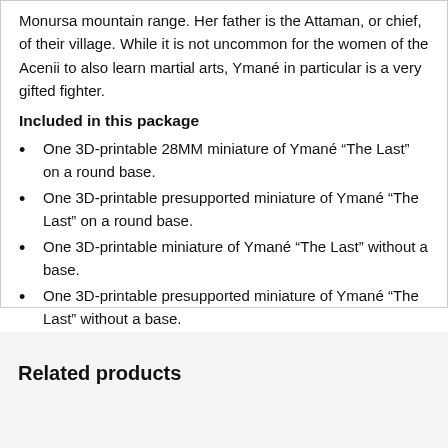Monursa mountain range. Her father is the Attaman, or chief, of their village. While it is not uncommon for the women of the Acenii to also learn martial arts, Ymané in particular is a very gifted fighter.
Included in this package
One 3D-printable 28MM miniature of Ymané “The Last” on a round base.
One 3D-printable presupported miniature of Ymané “The Last” on a round base.
One 3D-printable miniature of Ymané “The Last” without a base.
One 3D-printable presupported miniature of Ymané “The Last” without a base.
Related products